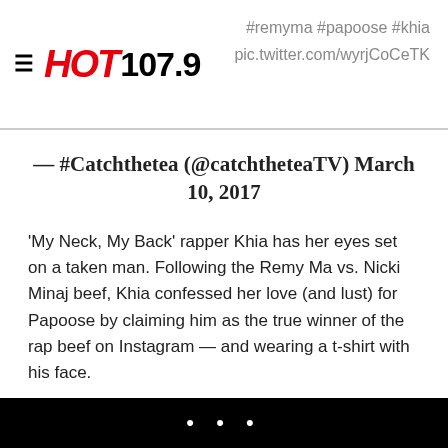HOT 107.9 — #remyma #papoose #khia pic.twitter.com/wyrjCoCeTK
— #Catchthetea (@catchtheteaTV) March 10, 2017
'My Neck, My Back' rapper Khia has her eyes set on a taken man. Following the Remy Ma vs. Nicki Minaj beef, Khia confessed her love (and lust) for Papoose by claiming him as the true winner of the rap beef on Instagram — and wearing a t-shirt with his face.
2. Daniel Kaluuya Is Here To